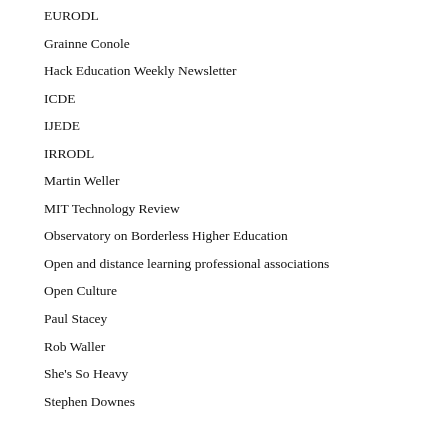EURODL
Grainne Conole
Hack Education Weekly Newsletter
ICDE
IJEDE
IRRODL
Martin Weller
MIT Technology Review
Observatory on Borderless Higher Education
Open and distance learning professional associations
Open Culture
Paul Stacey
Rob Waller
She's So Heavy
Stephen Downes